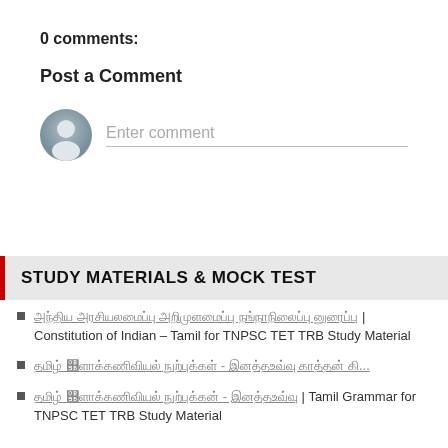0 comments:
Post a Comment
[Figure (illustration): User avatar icon (gray silhouette) and comment input field with placeholder text 'Enter comment']
STUDY MATERIALS & MOCK TEST
[Tamil text] | Constitution of Indian – Tamil for TNPSC TET TRB Study Material
[Tamil text] - [Tamil text] [Tamil text] கி...
[Tamil text] - [Tamil text] | Tamil Grammar for TNPSC TET TRB Study Material